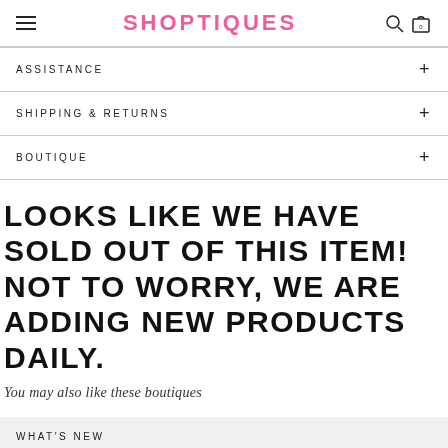SHOPTIQUES
ASSISTANCE
SHIPPING & RETURNS
BOUTIQUE
LOOKS LIKE WE HAVE SOLD OUT OF THIS ITEM! NOT TO WORRY, WE ARE ADDING NEW PRODUCTS DAILY.
You may also like these boutiques
WHAT'S NEW
CLOTHING